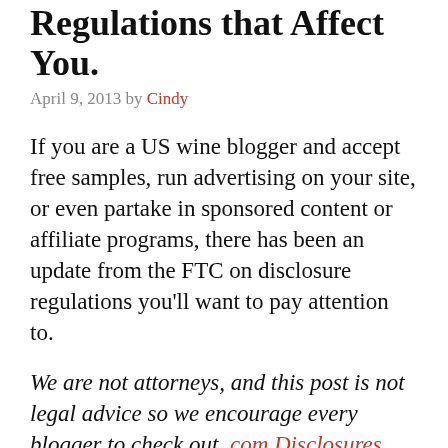Regulations that Affect You.
April 9, 2013 by Cindy
If you are a US wine blogger and accept free samples, run advertising on your site, or even partake in sponsored content or affiliate programs, there has been an update from the FTC on disclosure regulations you'll want to pay attention to.
We are not attorneys, and this post is not legal advice so we encourage every blogger to check out .com Disclosures and consult with an attorney if you have any questions.
The FTC makes it a point to emphasize that